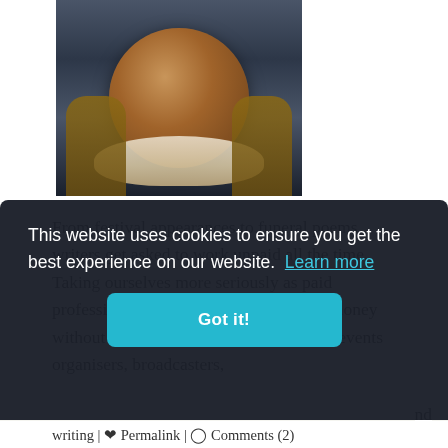[Figure (photo): Person holding a round artisan bread loaf wrapped in cloth, photographed from chest level against a dark background]
From festival appearances to funeral poems, writers get asked to work unpaid all the time. Taking ourselves more seriously as paid professionals means learning to ask for money without apology or embarrassment from events organisers, broadcasters,
nd
This website uses cookies to ensure you get the best experience on our website.  Learn more
Got it!
ur writing | Permalink | Comments (2)